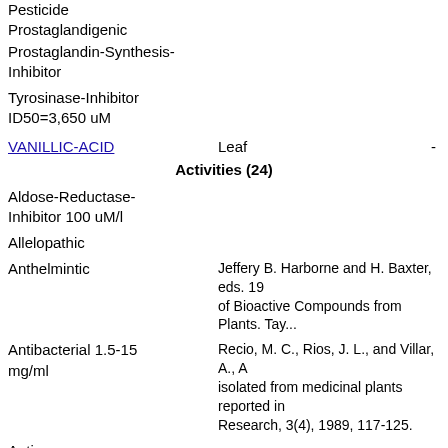Pesticide
Prostaglandigenic
Prostaglandin-Synthesis-Inhibitor
Tyrosinase-Inhibitor ID50=3,650 uM
| Activity/Compound | Part | Info |
| --- | --- | --- |
| VANILLIC-ACID | Leaf | - |
| Activities (24) |  |  |
| Aldose-Reductase-Inhibitor 100 uM/l |  |  |
| Allelopathic |  |  |
| Anthelmintic | Jeffery B. Harborne and H. Baxter, eds. 19...
of Bioactive Compounds from Plants. Tay... |  |
| Antibacterial 1.5-15 mg/ml | Recio, M. C., Rios, J. L., and Villar, A., A...
isolated from medicinal plants reported in...
Research, 3(4), 1989, 117-125. |  |
| Anticancer |  |  |
| Antifatigue |  |  |
| Antiinflammatory | Jeffery B. Harborne and H. Baxter, eds. 19...
of Bioactive Compounds from Plants. Tay... |  |
| Antileukemic IC50=25-56 ug/ml | Chiang, L. C., Chiang, W., Chang, M. Y., ...
activity of selected natural products in Tai... |  |